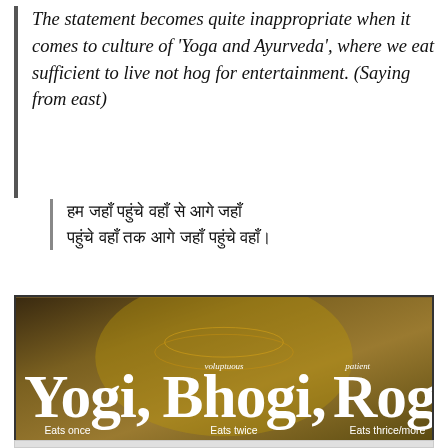The statement becomes quite inappropriate when it comes to culture of 'Yoga and Ayurveda', where we eat sufficient to live not hog for entertainment. (Saying from east)
हम जहाँ पहुंचे वहाँ से आगे जहाँ पहुंचे वहाँ तक आगे जहाँ पहुंचे वहाँ।
[Figure (illustration): Decorative banner image with golden/brown background showing a stylized figure with jewelry. Text reads: 'voluptuous' above 'Bhogi', 'patient' above 'Rogi'. Main large text: 'Yogi, Bhogi, Rogi'. Subtitles: 'Eats once' under Yogi, 'Eats twice' under Bhogi, 'Eats thrice/more' under Rogi.]